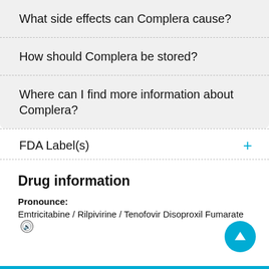What side effects can Complera cause?
How should Complera be stored?
Where can I find more information about Complera?
FDA Label(s)
Drug information
Pronounce:
Emtricitabine / Rilpivirine / Tenofovir Disoproxil Fumarate